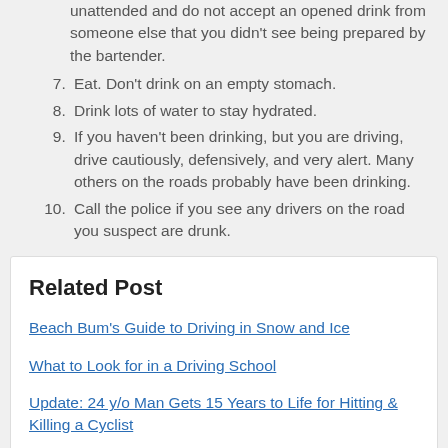unattended and do not accept an opened drink from someone else that you didn't see being prepared by the bartender.
7. Eat. Don't drink on an empty stomach.
8. Drink lots of water to stay hydrated.
9. If you haven't been drinking, but you are driving, drive cautiously, defensively, and very alert. Many others on the roads probably have been drinking.
10. Call the police if you see any drivers on the road you suspect are drunk.
Be careful and have fun. Luck o' the Irish to you!
Related Post
Beach Bum's Guide to Driving in Snow and Ice
What to Look for in a Driving School
Update: 24 y/o Man Gets 15 Years to Life for Hitting & Killing a Cyclist